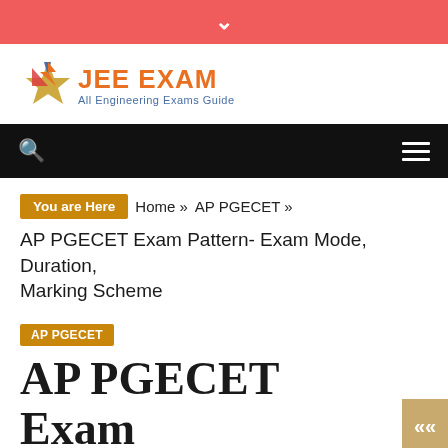▾
[Figure (logo): JEE EXAM - All Engineering Exams Guide logo with star and pen icon]
Search | Menu navigation bar
You are Here   Home »  AP PGECET »
AP PGECET Exam Pattern- Exam Mode, Duration, Marking Scheme
AP PGECET
AP PGECET Exam Pattern- Exam Mode, ...